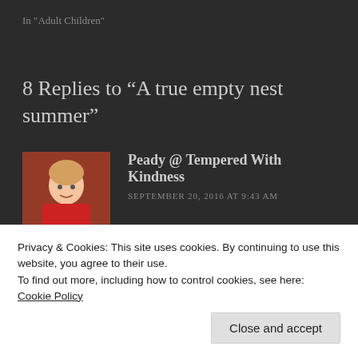In "Adult Children"
8 Replies to “A true empty nest summer”
Peady @ Tempered With Kindness
SEPTEMBER 20, 2016 AT 9:43 AM
Migraines absolutely suck. Full stop.
Did you have a higher humidity where you live this summer? I found the excessive humidity in Halifax almost unbearable at times. (I have managed
Privacy & Cookies: This site uses cookies. By continuing to use this website, you agree to their use.
To find out more, including how to control cookies, see here: Cookie Policy
Close and accept